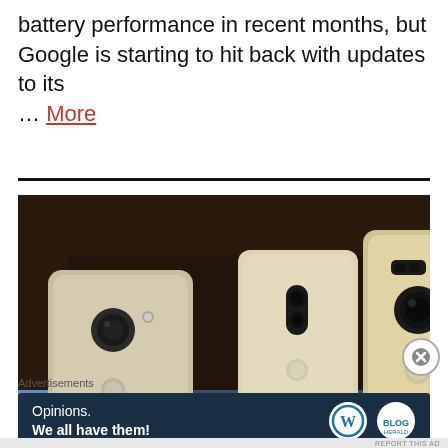… has been hammering Chrome's battery performance in recent months, but Google is starting to hit back with updates to its … More
[Figure (photo): Three Lenovo smartphones displayed from the back, showing their cameras and fingerprint sensors, arranged on a blue-lit surface against a dark background.]
Advertisements
[Figure (other): Advertisement banner reading 'Opinions. We all have them!' with WordPress and Blog logos on a dark navy background.]